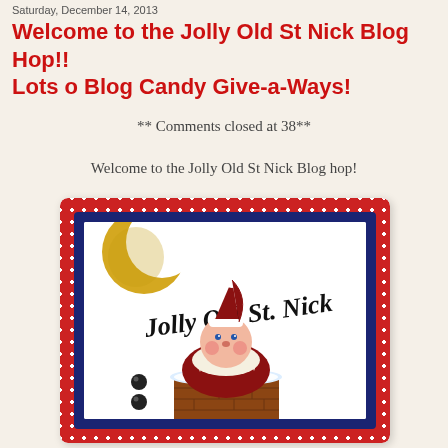Saturday, December 14, 2013
Welcome to the Jolly Old St Nick Blog Hop!! Lots o Blog Candy Give-a-Ways!
** Comments closed at 38**
Welcome to the Jolly Old St Nick Blog hop!
[Figure (illustration): Blog hop graphic card with red polka-dot border, navy blue inner border, white card interior. Shows crescent moon, Santa Claus in chimney wearing red hat, text 'Jolly Old St. Nick' in cursive and 'December 14th' vertically on right side.]